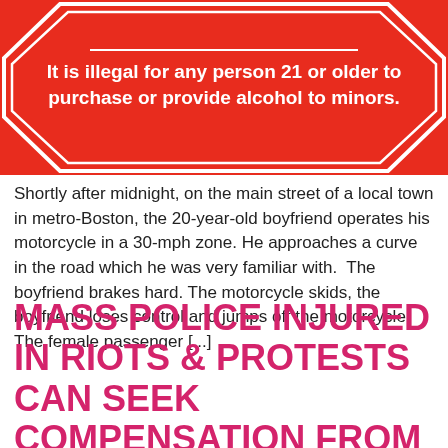[Figure (infographic): Red octagon-shaped stop-sign style graphic with white border and white bold text reading: It is illegal for any person 21 or older to purchase or provide alcohol to minors.]
Shortly after midnight, on the main street of a local town in metro-Boston, the 20-year-old boyfriend operates his motorcycle in a 30-mph zone. He approaches a curve in the road which he was very familiar with.  The boyfriend brakes hard. The motorcycle skids, the boyfriend loses control and jumps off the motorcycle. The female passenger [...]
MASS POLICE INJURED IN RIOTS & PROTESTS CAN SEEK COMPENSATION FROM AGITATORS